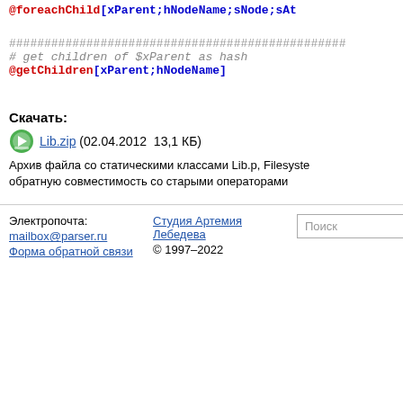@foreachChild[xParent;hNodeName;sNode;sAt
###############################################
# get children of $xParent as hash
@getChildren[xParent;hNodeName]
Скачать:
Lib.zip (02.04.2012  13,1 КБ)
Архив файла со статическими классами Lib.p, FileSyste... обратную совместимость со старыми операторами
Электропочта: mailbox@parser.ru Форма обратной связи | Студия Артемия Лебедева © 1997–2022 | Поиск